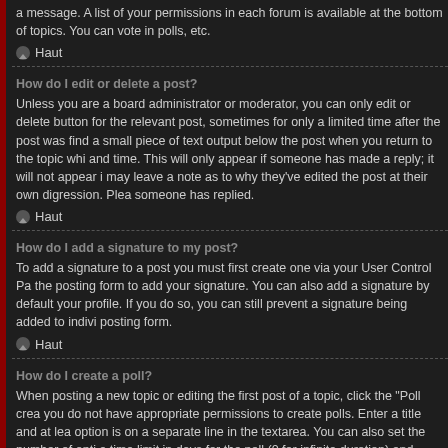a message. A list of your permissions in each forum is available at the bottom of topics. You can vote in polls, etc.
Haut
How do I edit or delete a post?
Unless you are a board administrator or moderator, you can only edit or delete button for the relevant post, sometimes for only a limited time after the post was find a small piece of text output below the post when you return to the topic whi and time. This will only appear if someone has made a reply; it will not appear i may leave a note as to why they've edited the post at their own digression. Plea someone has replied.
Haut
How do I add a signature to my post?
To add a signature to a post you must first create one via your User Control Pa the posting form to add your signature. You can also add a signature by default your profile. If you do so, you can still prevent a signature being added to indivi posting form.
Haut
How do I create a poll?
When posting a new topic or editing the first post of a topic, click the "Poll crea you do not have appropriate permissions to create polls. Enter a title and at lea option is on a separate line in the textarea. You can also set the number of opti a time limit in days for the poll (0 for infinite duration) and lastly the option to all